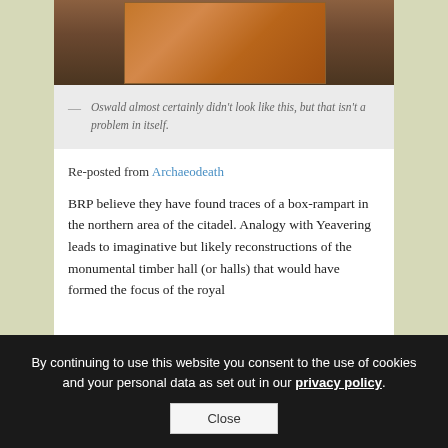[Figure (photo): Partial view of a framed illustration or painting showing a figure, displayed against a dark wooden background]
— Oswald almost certainly didn't look like this, but that isn't a problem in itself.
Re-posted from Archaeodeath
BRP believe they have found traces of a box-rampart in the northern area of the citadel. Analogy with Yeavering leads to imaginative but likely reconstructions of the monumental timber hall (or halls) that would have formed the focus of the royal
By continuing to use this website you consent to the use of cookies and your personal data as set out in our privacy policy. Close